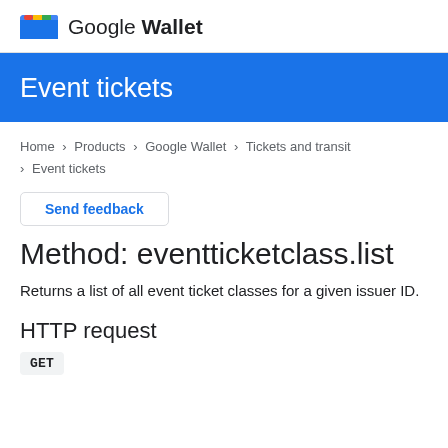Google Wallet
Event tickets
Home > Products > Google Wallet > Tickets and transit > Event tickets
Send feedback
Method: eventticketclass.list
Returns a list of all event ticket classes for a given issuer ID.
HTTP request
GET